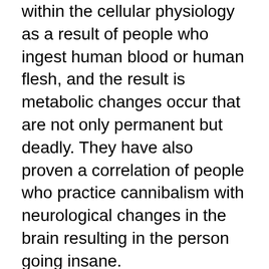within the cellular physiology as a result of people who ingest human blood or human flesh, and the result is metabolic changes occur that are not only permanent but deadly. They have also proven a correlation of people who practice cannibalism with neurological changes in the brain resulting in the person going insane.
I think a person would already have to be insane to even think about drinking the blood or eating the flesh of a traumatized child.
There are also references in Revelations about the mark would be clearly visible on their hand/wrist or their forehead/face, and at first, this only seemed like some kind of coincidence, I also began to realize that people who commonly use this drug clearly show signs of it on their hands, but especially that it causes them to develop